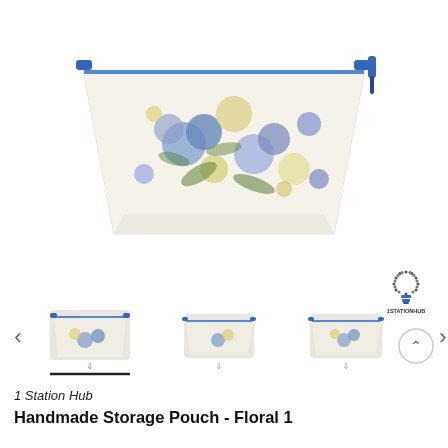[Figure (photo): A handmade storage pouch with a white background and blue and yellow floral pattern, featuring a blue zipper tassel, viewed from a top-front angle.]
[Figure (logo): 1StationHub logo — a lightbulb made of dots with a blue base and text '1STATIONHUB' below.]
[Figure (photo): Three thumbnail images of the same floral storage pouch from different angles, with navigation arrows on each side and a scroll-to-top button on the right.]
1 Station Hub
Handmade Storage Pouch - Floral 1